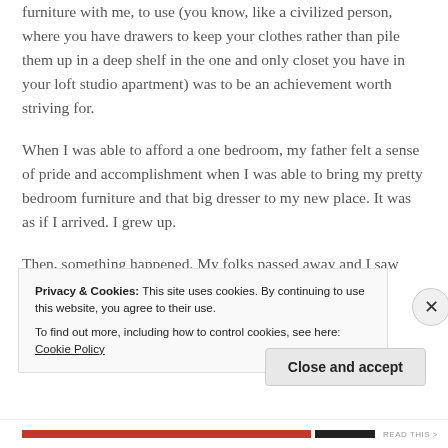furniture with me, to use (you know, like a civilized person, where you have drawers to keep your clothes rather than pile them up in a deep shelf in the one and only closet you have in your loft studio apartment) was to be an achievement worth striving for.
When I was able to afford a one bedroom, my father felt a sense of pride and accomplishment when I was able to bring my pretty bedroom furniture and that big dresser to my new place. It was as if I arrived. I grew up.
Then, something happened. My folks passed away and I saw how all their own heavy furniture was a burden I had
Privacy & Cookies: This site uses cookies. By continuing to use this website, you agree to their use.
To find out more, including how to control cookies, see here: Cookie Policy
Close and accept